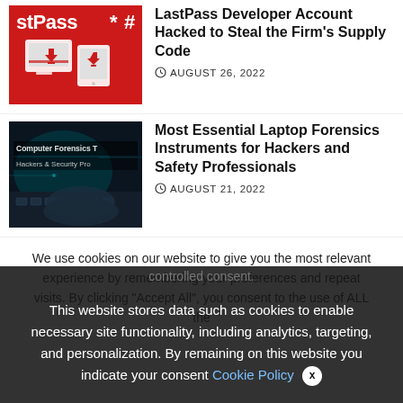[Figure (illustration): LastPass logo on red background with device icons showing download arrows]
LastPass Developer Account Hacked to Steal the Firm's Supply Code
AUGUST 26, 2022
[Figure (photo): Dark photo showing a person's hand typing on a laptop keyboard with cybersecurity text overlay: Computer Forensics T... Hackers & Security Pro...]
Most Essential Laptop Forensics Instruments for Hackers and Safety Professionals
AUGUST 21, 2022
We use cookies on our website to give you the most relevant experience by remembering your preferences and repeat visits. By clicking "Accept All", you consent to the use of ALL the controlled consent.
This website stores data such as cookies to enable necessary site functionality, including analytics, targeting, and personalization. By remaining on this website you indicate your consent Cookie Policy